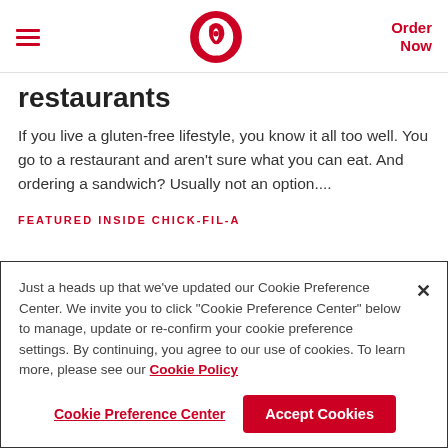Chick-fil-A header with menu, logo, and Order Now link
restaurants
If you live a gluten-free lifestyle, you know it all too well. You go to a restaurant and aren't sure what you can eat. And ordering a sandwich? Usually not an option....
FEATURED INSIDE CHICK-FIL-A
Just a heads up that we've updated our Cookie Preference Center. We invite you to click "Cookie Preference Center" below to manage, update or re-confirm your cookie preference settings. By continuing, you agree to our use of cookies. To learn more, please see our Cookie Policy
Cookie Preference Center | Accept Cookies